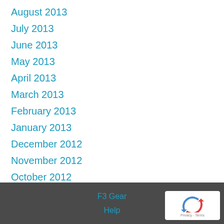August 2013
July 2013
June 2013
May 2013
April 2013
March 2013
February 2013
January 2013
December 2012
November 2012
October 2012
F3 Gear
Help